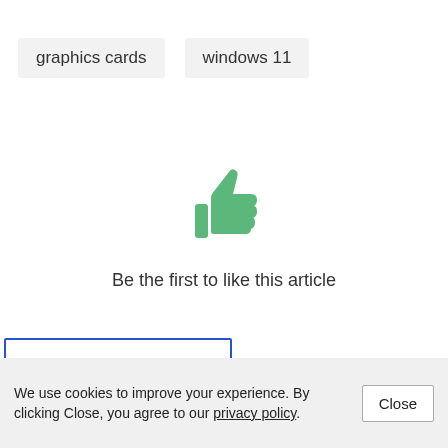graphics cards
windows 11
[Figure (illustration): Green thumbs-up like icon]
Be the first to like this article
Help Us Improve Article
We use cookies to improve your experience. By clicking Close, you agree to our privacy policy.